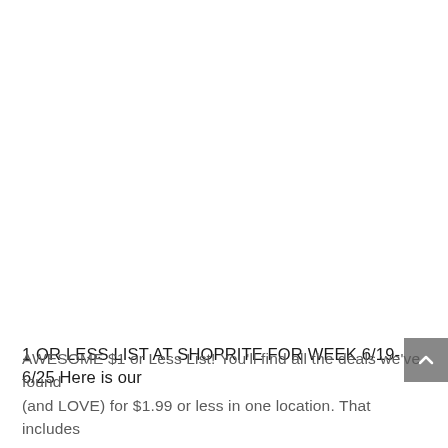1 OR LESS LIST AT SHOPRITE FOR WEEK 6/19-6/25 Here is our
AWESOME $1 or Less List! You'll find all the deals we've found (and LOVE) for $1.99 or less in one location. That includes